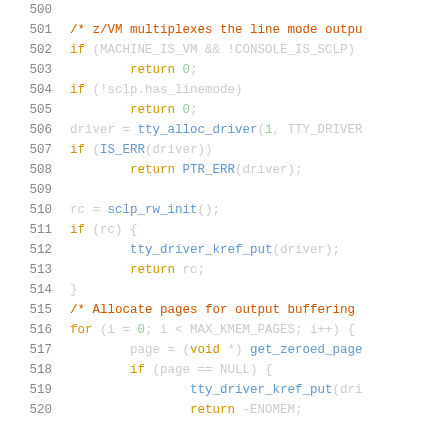[Figure (screenshot): Source code listing showing lines 500-520 of a Linux kernel C source file, with line numbers on the left and syntax-highlighted code on the right. Comments in orange, keywords in yellow, function names in blue, numbers in green.]